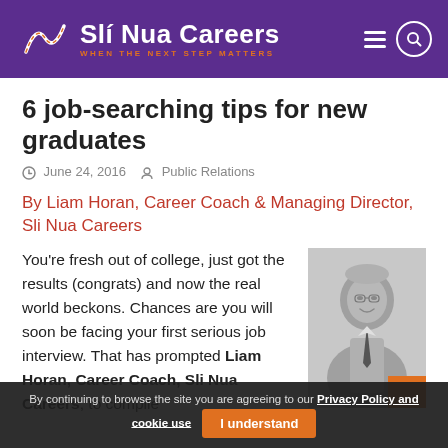Slí Nua Careers — WHEN THE NEXT STEP MATTERS
6 job-searching tips for new graduates
June 24, 2016   Public Relations
By Liam Horan, Career Coach & Managing Director, Sli Nua Careers
[Figure (photo): Black and white portrait photo of Liam Horan, a middle-aged man with glasses, wearing a suit and tie, smiling.]
You're fresh out of college, just got the results (congrats) and now the real world beckons. Chances are you will soon be facing your first serious job interview. That has prompted Liam Horan, Career Coach, Sli Nua Careers, to compile
By continuing to browse the site you are agreeing to our Privacy Policy and cookie use   I understand